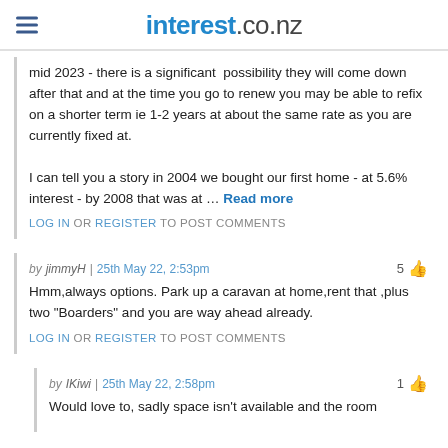interest.co.nz
mid 2023 - there is a significant possibility they will come down after that and at the time you go to renew you may be able to refix on a shorter term ie 1-2 years at about the same rate as you are currently fixed at.

I can tell you a story in 2004 we bought our first home - at 5.6% interest - by 2008 that was at … Read more
LOG IN OR REGISTER TO POST COMMENTS
by jimmyH | 25th May 22, 2:53pm   5 👍
Hmm,always options. Park up a caravan at home,rent that ,plus two "Boarders" and you are way ahead already.
LOG IN OR REGISTER TO POST COMMENTS
by IKiwi | 25th May 22, 2:58pm   1 👍
Would love to, sadly space isn't available and the room